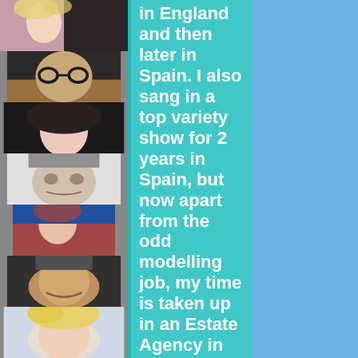[Figure (photo): A vertical strip of 7 portrait/candid photos of various people stacked on the left side of the page]
in England and then later in Spain. I also sang in a top variety show for 2 years in Spain, but now apart from the odd modelling job, my time is taken up in an Estate Agency in Palma